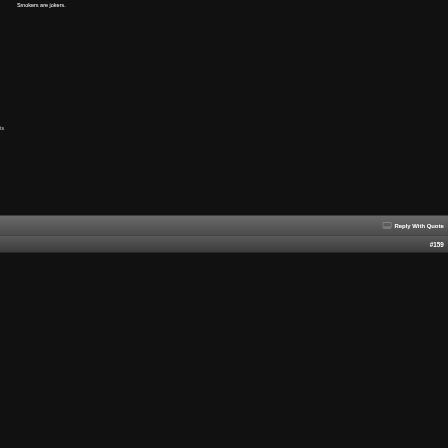Smokers are jokers.
ts
Reply With Quote
#159
Originally Posted by Kristy
A-HA! Dave has lung cancer. He doesn't have 90 days left to live. Smokers are jokers.
This is unlikely.
He must have had tons of imaging and cardiac work-ups/stress tests for his surgeries.